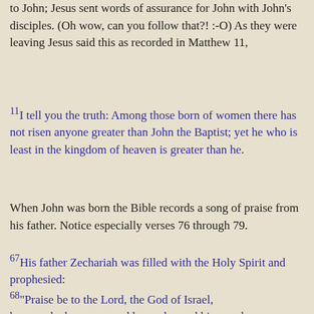to John; Jesus sent words of assurance for John with John's disciples. (Oh wow, can you follow that?! :-O) As they were leaving Jesus said this as recorded in Matthew 11,
11I tell you the truth: Among those born of women there has not risen anyone greater than John the Baptist; yet he who is least in the kingdom of heaven is greater than he.
When John was born the Bible records a song of praise from his father. Notice especially verses 76 through 79.
67His father Zechariah was filled with the Holy Spirit and prophesied: 68"Praise be to the Lord, the God of Israel, because he has come and has redeemed his people. 69He has raised up a horn of salvation for us in the house of his servant David 70(as he said through his holy prophets of long ago), 71salvation from our enemies,